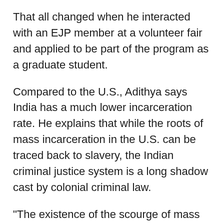That all changed when he interacted with an EJP member at a volunteer fair and applied to be part of the program as a graduate student.
Compared to the U.S., Adithya says India has a much lower incarceration rate. He explains that while the roots of mass incarceration in the U.S. can be traced back to slavery, the Indian criminal justice system is a long shadow cast by colonial criminal law.
“The existence of the scourge of mass incarceration in the U.S. is something in contradiction with the image it has to the outside world – an image of a developed and advanced nation, where everything is better,” he said. “And then you come and live here, see things for yourself, try to learn some history and somehow try to